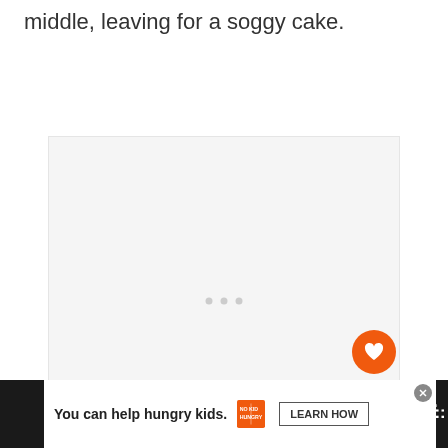middle, leaving for a soggy cake.
[Figure (photo): Large light gray placeholder image area with three loading dots centered, with a heart/like button (orange circle) and share button (white circle) overlaid on the right side, and a 'What's Next' card showing 'Hermione Granger's...' with a thumbnail.]
[Figure (infographic): Advertisement bar at bottom: dark background with white ad box reading 'You can help hungry kids.' with No Kid Hungry logo and 'LEARN HOW' button, and site watermark icon on right.]